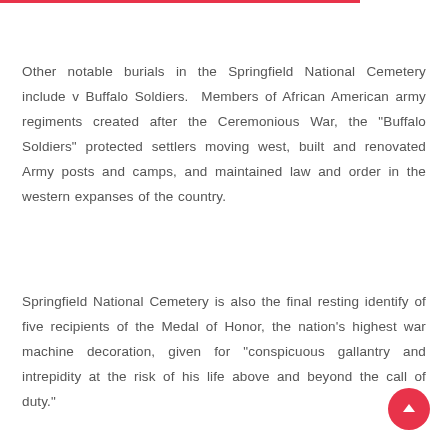Other notable burials in the Springfield National Cemetery include v Buffalo Soldiers.  Members of African American army regiments created after the Ceremonious War, the "Buffalo Soldiers" protected settlers moving west, built and renovated Army posts and camps, and maintained law and order in the western expanses of the country.
Springfield National Cemetery is also the final resting identify of five recipients of the Medal of Honor, the nation's highest war machine decoration, given for "conspicuous gallantry and intrepidity at the risk of his life above and beyond the call of duty."